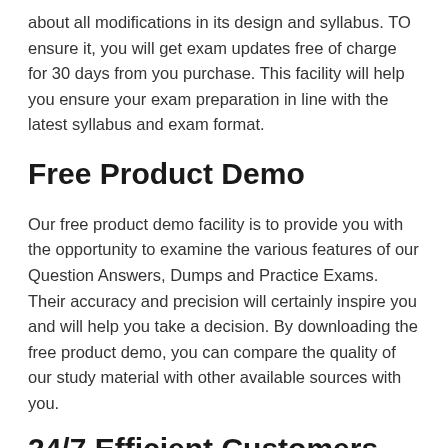about all modifications in its design and syllabus. TO ensure it, you will get exam updates free of charge for 30 days from you purchase. This facility will help you ensure your exam preparation in line with the latest syllabus and exam format.
Free Product Demo
Our free product demo facility is to provide you with the opportunity to examine the various features of our Question Answers, Dumps and Practice Exams. Their accuracy and precision will certainly inspire you and will help you take a decision. By downloading the free product demo, you can compare the quality of our study material with other available sources with you.
24/7 Efficient Customers Support Service
A short text that continues with the next section...